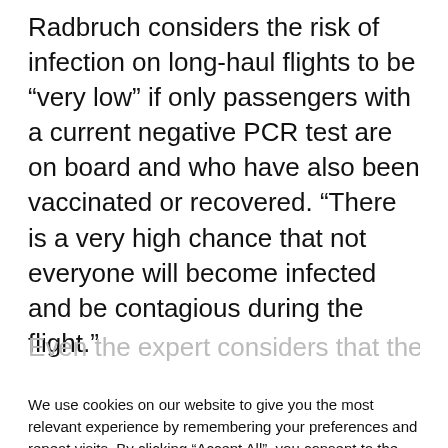Radbruch considers the risk of infection on long-haul flights to be “very low” if only passengers with a current negative PCR test are on board and who have also been vaccinated or recovered. “There is a very high chance that not everyone will become infected and be contagious during the flight.”
Even the expert considers that the omission...
We use cookies on our website to give you the most relevant experience by remembering your preferences and repeat visits. By clicking “Accept All”, you consent to the use of ALL the cookies. However, you may visit "Cookie Settings" to provide a controlled consent.